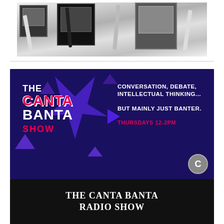[Figure (photo): Black and white photograph of multiple electric guitars on stands in front of several guitar amplifiers including Vox, Mesa Boogie, and Marshall brands]
[Figure (illustration): The Canta Banta Show advertisement banner on dark purple background with geometric star shapes. Left side shows 'THE CANTA BANTA SHOW' text, right side reads 'CONVERSATION, DEBATE, INTELLECTUAL THINKING... BUT MAINLY JUST BANTER. THURSDAYS 12-2PM']
THE CANTA BANTA RADIO SHOW